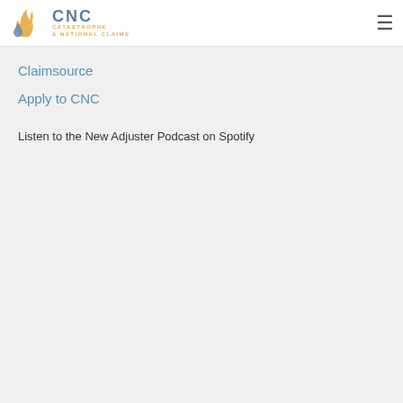CNC CATASTROPHE & NATIONAL CLAIMS
Claimsource
Apply to CNC
Listen to the New Adjuster Podcast on Spotify